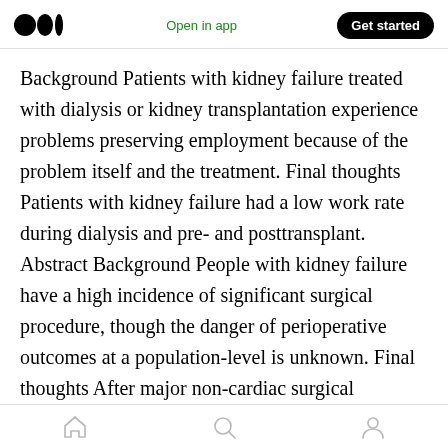Medium logo | Open in app | Get started
Background Patients with kidney failure treated with dialysis or kidney transplantation experience problems preserving employment because of the problem itself and the treatment. Final thoughts Patients with kidney failure had a low work rate during dialysis and pre- and posttransplant. Abstract Background People with kidney failure have a high incidence of significant surgical procedure, though the danger of perioperative outcomes at a population-level is unknown. Final thoughts After major non-cardiac surgical treatment, the
Home | Search | Profile